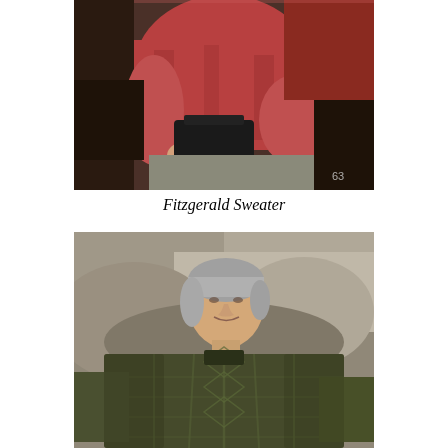[Figure (photo): A person wearing a red/salmon-colored sweater sitting in what appears to be a vehicle interior with dark leather seat. The lower body shows gray trousers. Number 63 is visible in the lower right of the image.]
Fitzgerald Sweater
[Figure (photo): A man with gray hair wearing a dark olive/green patterned cable-knit sweater or poncho, sitting outdoors against a rocky background. He is looking slightly to the side.]